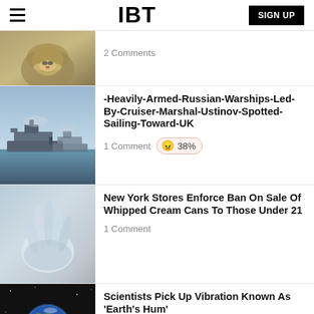IBT
2 Comments
-Heavily-Armed-Russian-Warships-Led-By-Cruiser-Marshal-Ustinov-Spotted-Sailing-Toward-UK
1 Comment  38%
New York Stores Enforce Ban On Sale Of Whipped Cream Cans To Those Under 21
1 Comment
Scientists Pick Up Vibration Known As 'Earth's Hum'